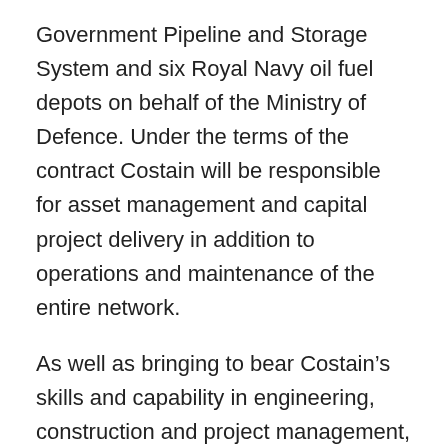Government Pipeline and Storage System and six Royal Navy oil fuel depots on behalf of the Ministry of Defence. Under the terms of the contract Costain will be responsible for asset management and capital project delivery in addition to operations and maintenance of the entire network.
As well as bringing to bear Costain's skills and capability in engineering, construction and project management, the operations and maintenance experience of Promanex, which the Group acquired in August 2011, was instrumental in securing the contract.
Andrew Wyllie, Chief Executive of Costain, commented: